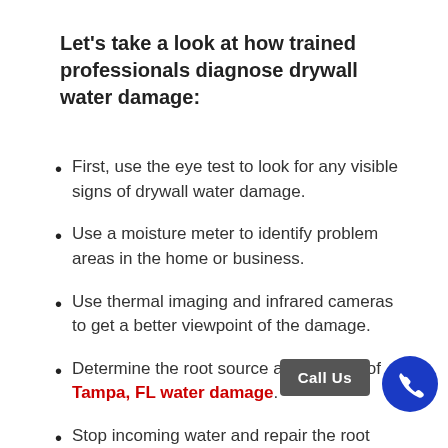Let's take a look at how trained professionals diagnose drywall water damage:
First, use the eye test to look for any visible signs of drywall water damage.
Use a moisture meter to identify problem areas in the home or business.
Use thermal imaging and infrared cameras to get a better viewpoint of the damage.
Determine the root source and the trail of Tampa, FL water damage.
Stop incoming water and repair the root source of the problem.
Check to confirm no more water is damaging the drywall.